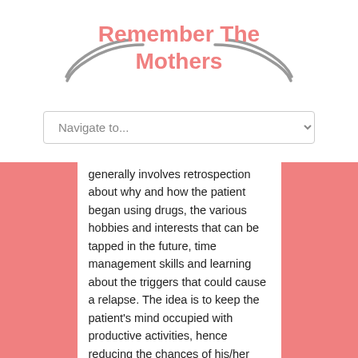[Figure (logo): Remember The Mothers logo with salmon/coral colored bold text and decorative grey swoosh lines on either side]
[Figure (screenshot): Navigation dropdown selector with 'Navigate to...' placeholder text]
generally involves retrospection about why and how the patient began using drugs, the various hobbies and interests that can be tapped in the future, time management skills and learning about the triggers that could cause a relapse. The idea is to keep the patient's mind occupied with productive activities, hence reducing the chances of his/her mind wandering off towards thoughts about relapsing. Positivity and hope are the key, even in the most